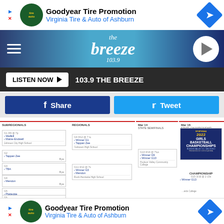[Figure (screenshot): Goodyear Tire Promotion ad banner - Virginia Tire & Auto of Ashburn]
[Figure (logo): The Breeze 103.9 radio station header with menu icon and play button]
LISTEN NOW ▶  103.9 THE BREEZE
f Share    🐦 Tweet
[Figure (infographic): Girls Basketball sectional bracket showing SUBREGIONALS, REGIONALS, STATE SEMIFINALS, STATE CHAMPIONSHIP columns with team matchups including Wallkill, Maine-Endwell, Tappan Zee, TBA, Mendon, Plattedge, Winner G1, Tappan Zee, Winner G3, Mendon, Winner G9, Winner G10. Venue locations shown. NYSPHSAA 2022 Girls Basketball Championships Hudson Valley CC Section 2 logo displayed.]
[Figure (screenshot): Goodyear Tire Promotion ad banner bottom - Virginia Tire & Auto of Ashburn]